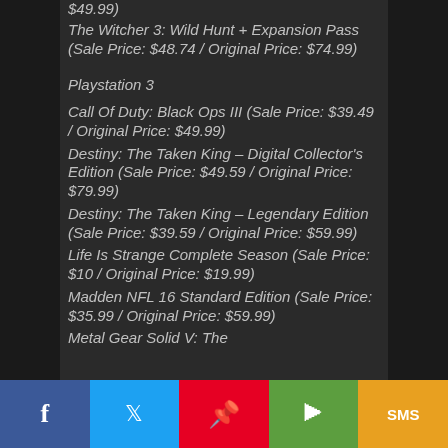$49.99)
The Witcher 3: Wild Hunt + Expansion Pass (Sale Price: $48.74 / Original Price: $74.99)
Playstation 3
Call Of Duty: Black Ops III (Sale Price: $39.49 / Original Price: $49.99)
Destiny: The Taken King – Digital Collector's Edition (Sale Price: $49.59 / Original Price: $79.99)
Destiny: The Taken King – Legendary Edition (Sale Price: $39.59 / Original Price: $59.99)
Life Is Strange Complete Season (Sale Price: $10 / Original Price: $19.99)
Madden NFL 16 Standard Edition (Sale Price: $35.99 / Original Price: $59.99)
Metal Gear Solid V: The…